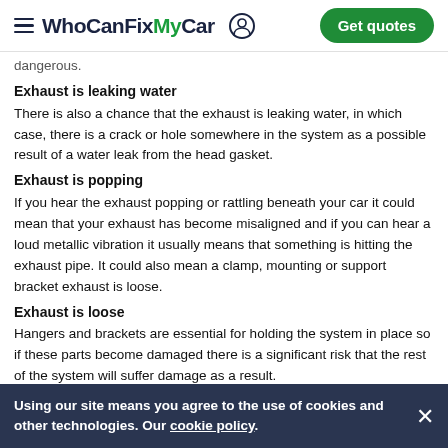WhoCanFixMyCar — Get quotes
dangerous.
Exhaust is leaking water
There is also a chance that the exhaust is leaking water, in which case, there is a crack or hole somewhere in the system as a possible result of a water leak from the head gasket.
Exhaust is popping
If you hear the exhaust popping or rattling beneath your car it could mean that your exhaust has become misaligned and if you can hear a loud metallic vibration it usually means that something is hitting the exhaust pipe. It could also mean a clamp, mounting or support bracket exhaust is loose.
Exhaust is loose
Hangers and brackets are essential for holding the system in place so if these parts become damaged there is a significant risk that the rest of the system will suffer damage as a result.
If you are able to get underneath your car, it is always the best way to check for signs of damage.
Exhaust is rusty
One of the most common issues associated with exhausts is rust build up, however this can often be a minor issue as some pealing of...
If there is a build up of rust on any part of the system, use a tool such as a screwdriver to see how strong the area feels. If the
Using our site means you agree to the use of cookies and other technologies. Our cookie policy.